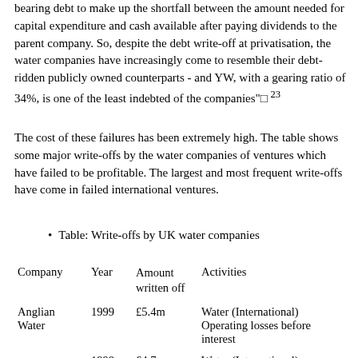bearing debt to make up the shortfall between the amount needed for capital expenditure and cash available after paying dividends to the parent company. So, despite the debt write-off at privatisation, the water companies have increasingly come to resemble their debt-ridden publicly owned counterparts - and YW, with a gearing ratio of 34%, is one of the least indebted of the companies"□ 23
The cost of these failures has been extremely high. The table shows some major write-offs by the water companies of ventures which have failed to be profitable. The largest and most frequent write-offs have come in failed international ventures.
Table: Write-offs by UK water companies
| Company | Year | Amount written off | Activities |
| --- | --- | --- | --- |
| Anglian Water | 1999 | £5.4m | Water (International) Operating losses before interest |
|  | 1998 | £4.7m | Water (International) Operating losses before interest |
|  |  |  | Group Restructuring  "This is part of an expected total of £50.0m |